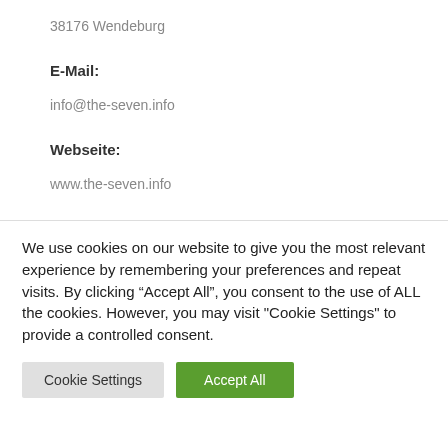38176 Wendeburg
E-Mail:
info@the-seven.info
Webseite:
www.the-seven.info
We use cookies on our website to give you the most relevant experience by remembering your preferences and repeat visits. By clicking “Accept All”, you consent to the use of ALL the cookies. However, you may visit "Cookie Settings" to provide a controlled consent.
Cookie Settings
Accept All